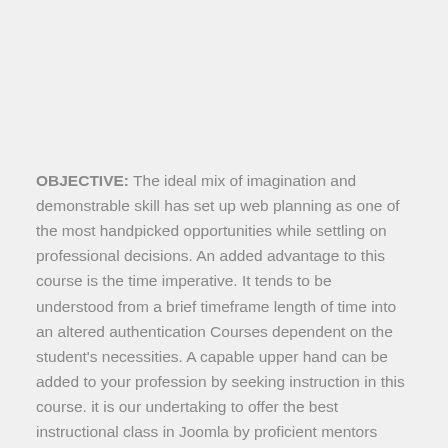OBJECTIVE: The ideal mix of imagination and demonstrable skill has set up web planning as one of the most handpicked opportunities while settling on professional decisions. An added advantage to this course is the time imperative. It tends to be understood from a brief timeframe length of time into an altered authentication Courses dependent on the student's necessities. A capable upper hand can be added to your profession by seeking instruction in this course. it is our undertaking to offer the best instructional class in Joomla by proficient mentors having long stretches of demonstrated involvement with the Content administration framework. WHY TUTORS GROUP: Tutors Group is known for its accomplished staff. The personnel in Tutors bunch are experienced for at the very least 6-7 years. They tackle the issues easily and appropriate strategies and help students in their